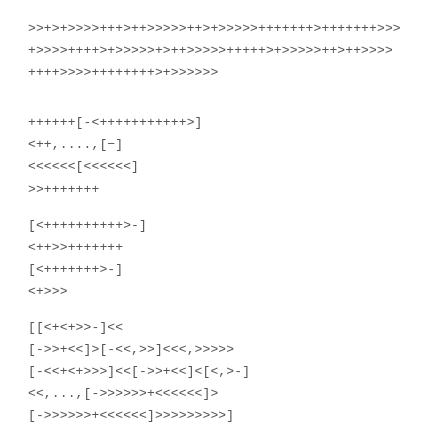>>+>+>>>>+++>++>>>>>++>+>>>>>+++++++>+++++++>>>
+>>>>++++>+>>>>>+>++>>>>>+++++>+>>>>>++>++>>>>
++++>>>>++++++++>+>>>>>>
++++++[-<+++++++++++>]
<++,....,[−]
<<<<<<[<<<<<<]
>>+++++++
[<++++++++++>-]
<++>>+++++++
[<+++++++>-]
<+>>>
[[<+<+>>-]<<
[->>+<<]>[-<<,>>]<<<,>>>>>
[-<<+<+>>>]<<[->>+<<]<[<,>-]
<<,...,[->>>>>>+<<<<<<]>
[->>>>>>+<<<<<<]>>>>>>>>>]